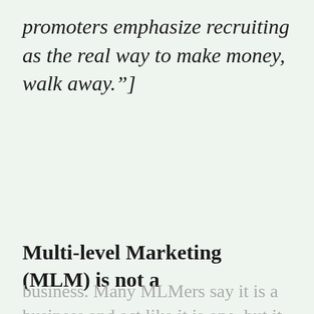promoters emphasize recruiting as the real way to make money, walk away."]
Multi-level Marketing (MLM) is not a
business. Many MLMers say it is a business and act like it is one, but it simply